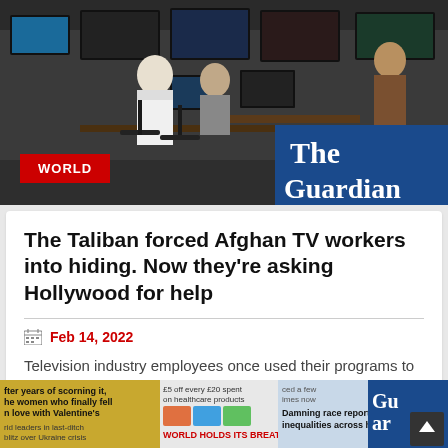[Figure (photo): Newsroom scene with people working at computers with multiple TV screens, overlaid with The Guardian logo on blue background and WORLD badge in red]
The Taliban forced Afghan TV workers into hiding. Now they're asking Hollywood for help
Feb 14, 2022
Television industry employees once used their programs to address progressive ideas. Many are now out of work and fearful to leave their homes
READ MORE
[Figure (photo): Bottom strip of newspaper front pages and thumbnails including Guardian articles about Valentine's Day, Ukraine crisis, health care products, and race report]